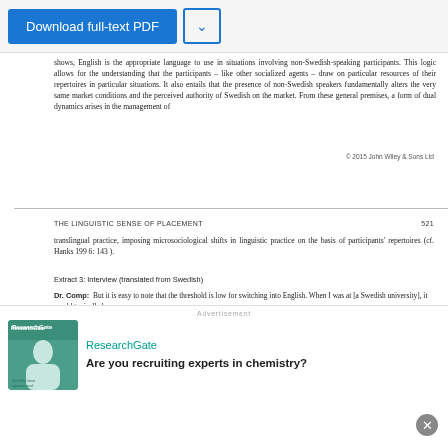Download full-text PDF
shows, English is the appropriate language to use in situations involving non-Swedish-speaking participants. This logic allows for the understanding that the participants – like other socialized agents – draw on particular resources of their repertoires in particular situations. It also entails that the presence of non-Swedish speakers fundamentally alters the very same market conditions and the perceived authority of Swedish on the market. From these general premises, a form of dual dynamics arises in the management of
© 2015 John Wiley & Sons Ltd
THE LINGUISTIC SENSE OF PLACEMENT   521
translingual practice, imposing microsociological shifts in linguistic practice on the basis of participants' repertoires (cf. Hanks 1996: 143).
Extract 3: Interview (translated from Swedish)
Dr. Comp:   But it is easy to note that the threshold is low for switching into English. When I was at [a Swedish university], it would typically be